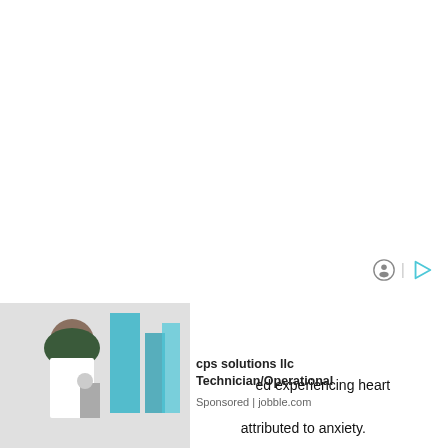[Figure (screenshot): Advertisement overlay showing a lab technician (woman in hijab and lab coat looking into microscope) with blue geometric shapes. Ad text reads: 'cps solutions llc / Technician/Operational' with 'Sponsored | jobble.com'. Icons for mute/play controls visible. Background of page is white with partial article text visible.]
When D                      ed experiencing heart palpitations four ye                          attributed to anxiety.